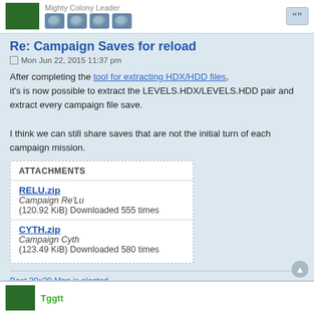Mighty Colony Leader [badges]
Re: Campaign Saves for reload
Mon Jun 22, 2015 11:37 pm
After completing the tool for extracting HDX/HDD files, it's is now possible to extract the LEVELS.HDX/LEVELS.HDD pair and extract every campaign file save.

I think we can still share saves that are not the initial turn of each campaign mission.
| ATTACHMENTS |
| --- |
| RELU.zip | Campaign Re'Lu | (120.92 KiB) Downloaded 555 times |
| CYTH.zip | Campaign Cyth | (123.49 KiB) Downloaded 580 times |
Best 20x20 Map is elected.
Follow @OpenDeadlock.
Please help Deadlock Wikis.
Join #OpenDeadlock at irc.MindForge.org and Libera.Chat
Tggtt